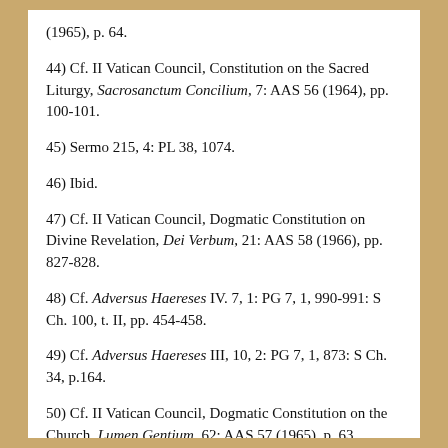(1965), p. 64.
44) Cf. II Vatican Council, Constitution on the Sacred Liturgy, Sacrosanctum Concilium, 7: AAS 56 (1964), pp. 100-101.
45) Sermo 215, 4: PL 38, 1074.
46) Ibid.
47) Cf. II Vatican Council, Dogmatic Constitution on Divine Revelation, Dei Verbum, 21: AAS 58 (1966), pp. 827-828.
48) Cf. Adversus Haereses IV. 7, 1: PG 7, 1, 990-991: S Ch. 100, t. II, pp. 454-458.
49) Cf. Adversus Haereses III, 10, 2: PG 7, 1, 873: S Ch. 34, p.164.
50) Cf. II Vatican Council, Dogmatic Constitution on the Church, Lumen Gentium, 62: AAS 57 (1965), p. 63.
51) II Vatican Council Constitution on the Sacred